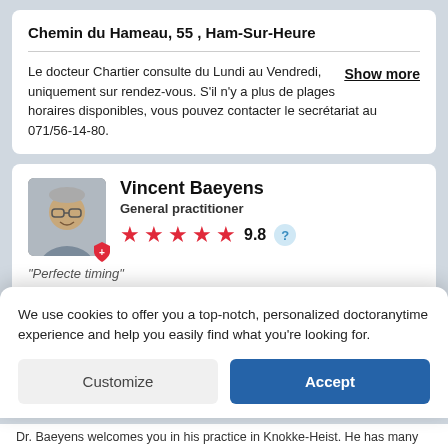Chemin du Hameau, 55 , Ham-Sur-Heure
Le docteur Chartier consulte du Lundi au Vendredi, uniquement sur rendez-vous. S'il n'y a plus de plages horaires disponibles, vous pouvez contacter le secrétariat au 071/56-14-80.
Show more
Vincent Baeyens
General practitioner
9.8
"Perfecte timing"
Next availability
29/08/2022 10:00
We use cookies to offer you a top-notch, personalized doctoranytime experience and help you easily find what you're looking for.
Customize
Accept
Dr. Baeyens welcomes you in his practice in Knokke-Heist. He has many